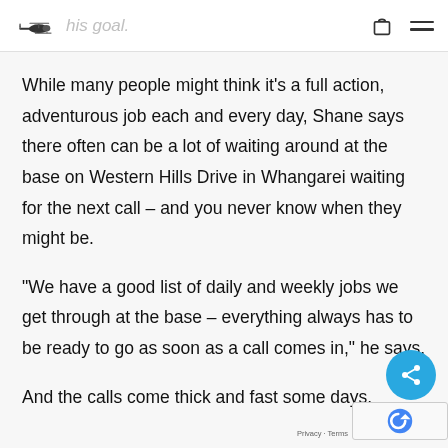his goal.
While many people might think it’s a full action, adventurous job each and every day, Shane says there often can be a lot of waiting around at the base on Western Hills Drive in Whangarei waiting for the next call – and you never know when they might be.
“We have a good list of daily and weekly jobs we get through at the base – everything always has to be ready to go as soon as a call comes in,” he says.
And the calls come thick and fast some days.